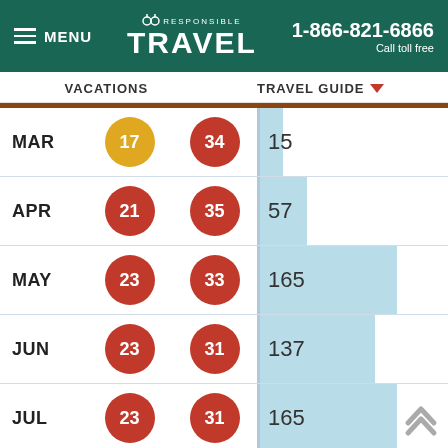[Figure (screenshot): Responsible Travel website header with menu, logo, and phone number 1-866-821-6866]
VACATIONS   TRAVEL GUIDE
| Month | Col1 | Col2 | Count |
| --- | --- | --- | --- |
| MAR | 17 | 34 | 15 |
| APR | 21 | 35 | 57 |
| MAY | 23 | 33 | 165 |
| JUN | 23 | 31 | 137 |
| JUL | 23 | 31 | 165 |
| AUG | 22 | 30 | 226 |
|  |  | 30 | 224 |
RECENTLY VIEWED